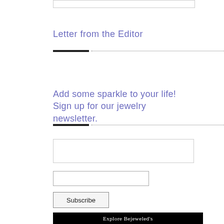[Figure (other): Search bar input field at the top of the page]
Letter from the Editor
[Figure (other): Horizontal divider with solid black segment and dotted line]
Add some sparkle to your life! Sign up for our jewelry newsletter.
[Figure (other): Horizontal divider with solid black segment and dotted line]
[Figure (other): Large email input box]
[Figure (other): Small email input field]
Subscribe
[Figure (other): Black banner at bottom reading: Explore Bejeweled's]